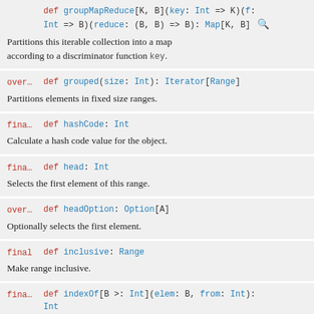def groupMapReduce[K, B](key: Int => K)(f: Int => B)(reduce: (B, B) => B): Map[K, B] — Partitions this iterable collection into a map according to a discriminator function key.
over... def grouped(size: Int): Iterator[Range] — Partitions elements in fixed size ranges.
fina... def hashCode: Int — Calculate a hash code value for the object.
fina... def head: Int — Selects the first element of this range.
over... def headOption: Option[A] — Optionally selects the first element.
final def inclusive: Range — Make range inclusive.
fina... def indexOf[B >: Int](elem: B, from: Int): Int